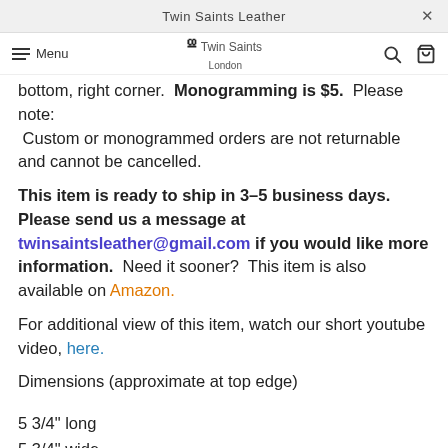Twin Saints Leather ×
bottom, right corner.  Monogramming is $5.  Please note:  Custom or monogrammed orders are not returnable and cannot be cancelled.
This item is ready to ship in 3–5 business days. Please send us a message at twinsaintsleather@gmail.com if you would like more information.  Need it sooner?  This item is also available on Amazon.
For additional view of this item, watch our short youtube video, here.
Dimensions (approximate at top edge)
5 3/4" long
5 3/4" wide